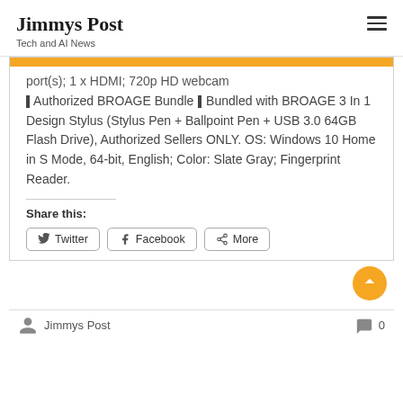Jimmys Post
Tech and AI News
port(s); 1 x HDMI; 720p HD webcam
| Authorized BROAGE Bundle | Bundled with BROAGE 3 In 1 Design Stylus (Stylus Pen + Ballpoint Pen + USB 3.0 64GB Flash Drive), Authorized Sellers ONLY. OS: Windows 10 Home in S Mode, 64-bit, English; Color: Slate Gray; Fingerprint Reader.
Share this:
Twitter  Facebook  More
Jimmys Post